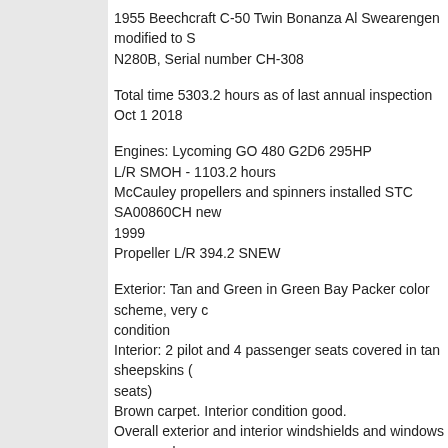1955 Beechcraft C-50 Twin Bonanza Al Swearengen modified to S N280B, Serial number CH-308
Total time 5303.2 hours as of last annual inspection Oct 1 2018
Engines: Lycoming GO 480 G2D6 295HP
L/R SMOH - 1103.2 hours
McCauley propellers and spinners installed STC SA00860CH new 1999
Propeller L/R 394.2 SNEW
Exterior: Tan and Green in Green Bay Packer color scheme, very condition
Interior: 2 pilot and 4 passenger seats covered in tan sheepskins (seats)
Brown carpet. Interior condition good.
Overall exterior and interior windshields and windows very good.
Always hangared.
Avionics:
Dual KX 155 Navs and Comms
Dual glide slope displays
Garmin GTX 327 transponder